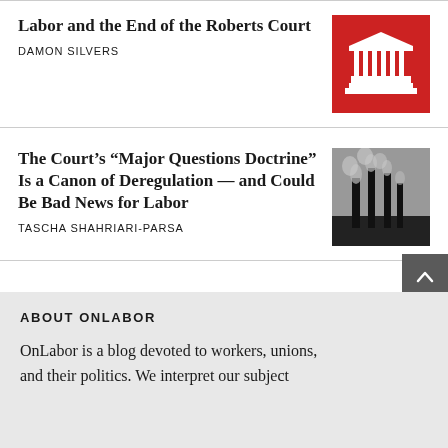Labor and the End of the Roberts Court
DAMON SILVERS
[Figure (illustration): Red background with white outline illustration of a classical columned building (Supreme Court)]
The Court’s “Major Questions Doctrine” Is a Canon of Deregulation — and Could Be Bad News for Labor
TASCHA SHAHRIARI-PARSA
[Figure (photo): Black and white photograph of industrial smokestacks emitting smoke against a dark sky]
ABOUT ONLABOR
OnLabor is a blog devoted to workers, unions, and their politics. We interpret our subject